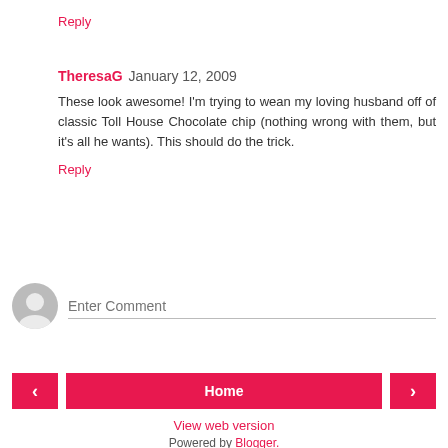Reply
TheresaG  January 12, 2009
These look awesome! I'm trying to wean my loving husband off of classic Toll House Chocolate chip (nothing wrong with them, but it's all he wants). This should do the trick.
Reply
Enter Comment
< Home >
View web version
Powered by Blogger.